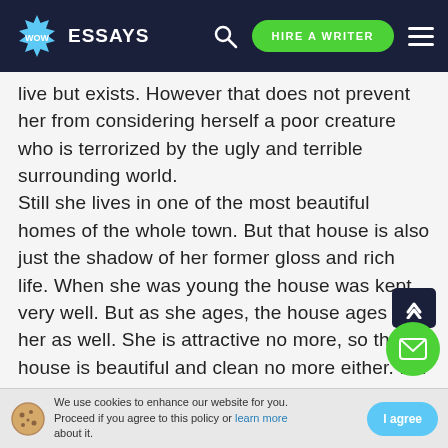WOW ESSAYS — HIRE A WRITER
live but exists. However that does not prevent her from considering herself a poor creature who is terrorized by the ugly and terrible surrounding world. Still she lives in one of the most beautiful homes of the whole town. But that house is also just the shadow of her former gloss and rich life. When she was young the house was kept very well. But as she ages, the house ages with her as well. She is attractive no more, so the house is beautiful and clean no more either. For the whole town it became the eyesore, as wel
We use cookies to enhance our website for you. Proceed if you agree to this policy or learn more about it. I agree